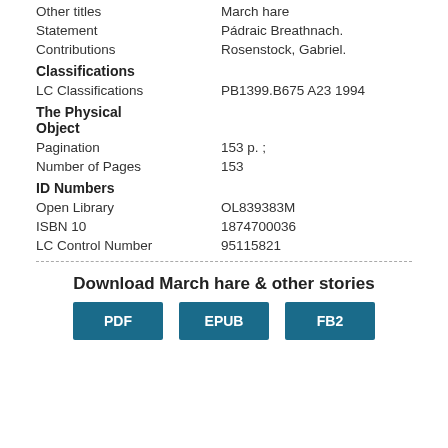Other titles    March hare
Statement    Pádraic Breathnach.
Contributions    Rosenstock, Gabriel.
Classifications
LC Classifications    PB1399.B675 A23 1994
The Physical Object
Pagination    153 p. ;
Number of Pages    153
ID Numbers
Open Library    OL839383M
ISBN 10    1874700036
LC Control Number    95115821
Download March hare & other stories
[Figure (other): Three download buttons: PDF, EPUB, FB2]